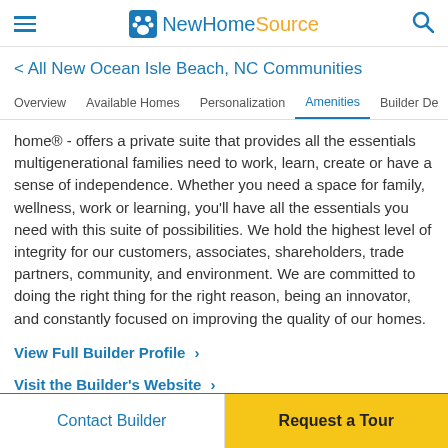NewHomeSource
< All New Ocean Isle Beach, NC Communities
Overview | Available Homes | Personalization | Amenities | Builder De >
home® - offers a private suite that provides all the essentials multigenerational families need to work, learn, create or have a sense of independence. Whether you need a space for family, wellness, work or learning, you'll have all the essentials you need with this suite of possibilities. We hold the highest level of integrity for our customers, associates, shareholders, trade partners, community, and environment. We are committed to doing the right thing for the right reason, being an innovator, and constantly focused on improving the quality of our homes.
View Full Builder Profile >
Visit the Builder's Website >
Contact Builder | Request a Tour